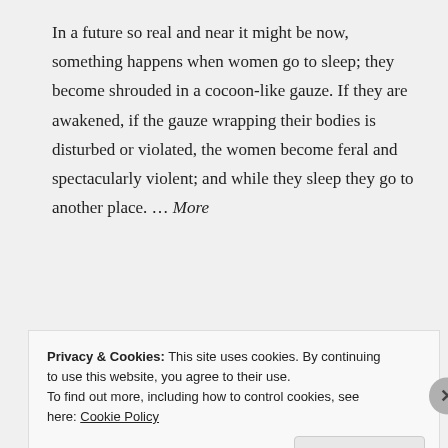In a future so real and near it might be now, something happens when women go to sleep; they become shrouded in a cocoon-like gauze. If they are awakened, if the gauze wrapping their bodies is disturbed or violated, the women become feral and spectacularly violent; and while they sleep they go to another place. … More
[Figure (photo): A bookshelf with multiple books visible, including books with 'ING' visible on spines, a green book, and other colorful spines arranged on a wooden shelf, photographed at an angle.]
Privacy & Cookies: This site uses cookies. By continuing to use this website, you agree to their use. To find out more, including how to control cookies, see here: Cookie Policy
Close and accept